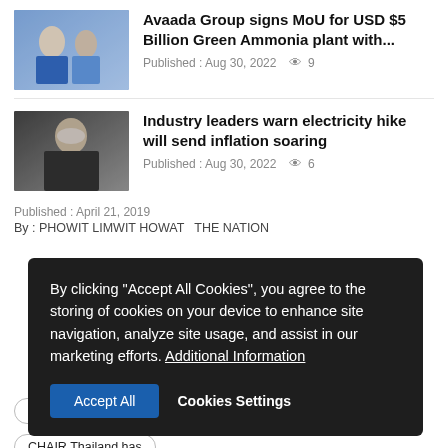[Figure (photo): Thumbnail image of people at a signing event for Avaada Group MoU]
Avaada Group signs MoU for USD $5 Billion Green Ammonia plant with...
Published : Aug 30, 2022  9
[Figure (photo): Thumbnail image of a man wearing a mask, industry leader]
Industry leaders warn electricity hike will send inflation soaring
Published : Aug 30, 2022  6
Published : April 21, 2019
By : PHOWIT LIMWIT HOWAT  THE NATION
By clicking "Accept All Cookies", you agree to the storing of cookies on your device to enhance site navigation, analyze site usage, and assist in our marketing efforts. Additional Information
Accept All   Cookies Settings
Tags: ASEAN Economic Ministers' Retreat (AEMR)
Phuket
Asean economic
Thailand
Thailand has
CHAIR Thailand has